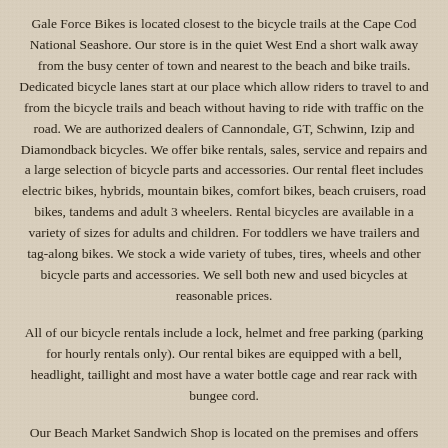Gale Force Bikes is located closest to the bicycle trails at the Cape Cod National Seashore. Our store is in the quiet West End a short walk away from the busy center of town and nearest to the beach and bike trails. Dedicated bicycle lanes start at our place which allow riders to travel to and from the bicycle trails and beach without having to ride with traffic on the road. We are authorized dealers of Cannondale, GT, Schwinn, Izip and Diamondback bicycles. We offer bike rentals, sales, service and repairs and a large selection of bicycle parts and accessories. Our rental fleet includes electric bikes, hybrids, mountain bikes, comfort bikes, beach cruisers, road bikes, tandems and adult 3 wheelers. Rental bicycles are available in a variety of sizes for adults and children. For toddlers we have trailers and tag-along bikes. We stock a wide variety of tubes, tires, wheels and other bicycle parts and accessories. We sell both new and used bicycles at reasonable prices.
All of our bicycle rentals include a lock, helmet and free parking (parking for hourly rentals only). Our rental bikes are equipped with a bell, headlight, taillight and most have a water bottle cage and rear rack with bungee cord.
Our Beach Market Sandwich Shop is located on the premises and offers fresh sandwiches, salads, snacks and beverages as well as dry goods and convenience items. Order food for a picnic